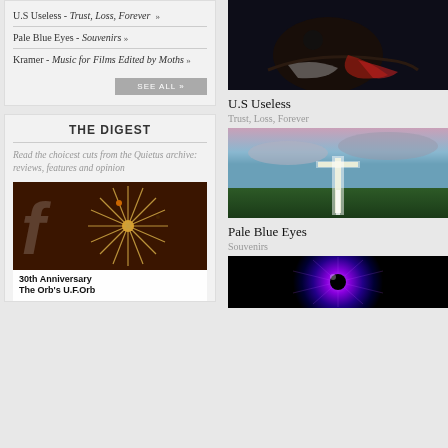U.S Useless - Trust, Loss, Forever »
Pale Blue Eyes - Souvenirs »
Kramer - Music for Films Edited by Moths »
SEE ALL »
THE DIGEST
Read the choicest cuts from the Quietus archive: reviews, features and opinion
[Figure (photo): Close-up of a spiky starburst / orb shape on dark brown background with partial letter F visible]
30th Anniversary
The Orb's U.F.Orb
[Figure (photo): Dark painterly image of a figure reclining with red fabric]
U.S Useless
Trust, Loss, Forever
[Figure (photo): Twilight field with glowing cross-shaped light structure against pink-purple cloudy sky]
Pale Blue Eyes
Souvenirs
[Figure (photo): Close-up of a colorful eye or iris with purple and blue tones on black background]